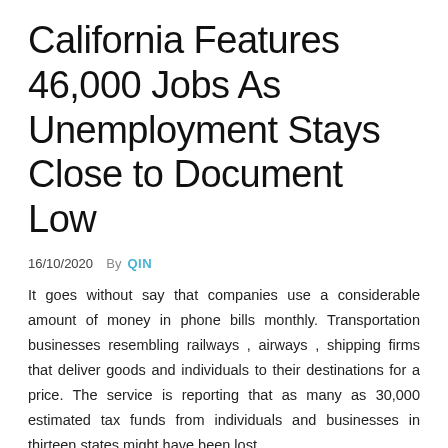California Features 46,000 Jobs As Unemployment Stays Close to Document Low
16/10/2020  By  QIN
It goes without say that companies use a considerable amount of money in phone bills monthly. Transportation businesses resembling railways , airways , shipping firms that deliver goods and individuals to their destinations for a price. The service is reporting that as many as 30,000 estimated tax funds from individuals and businesses in thirteen states might have been lost.
The standard in shopper financial-providers research, strategy, and perception. In his third yr, with the pizza business was booming, and taking up a lot of his time, Tom stopped promoting ice cream. Local jurisdictions may additionally require special licenses and taxes just to